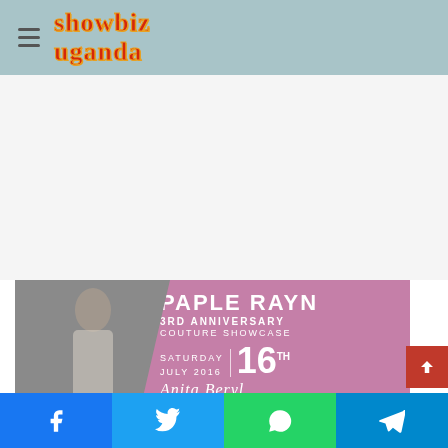showbiz uganda
[Figure (illustration): Paple Rayn 3rd Anniversary Couture Showcase event banner. Left side shows a model in a white lace dress against a grey background with CR Paple Rayn logo. Right side is purple/mauve with text: PAPLE RAYN, 3RD ANNIVERSARY, COUTURE SHOWCASE, SATURDAY | 16TH, JULY 2016, and cursive text Anita Beryl.]
[Figure (screenshot): Social media share buttons bar at bottom: Facebook (blue), Twitter (light blue), WhatsApp (green), Telegram (blue)]